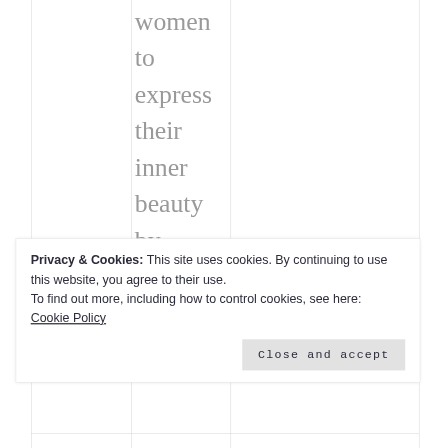women to express their inner beauty by offering a web platf...
Privacy & Cookies: This site uses cookies. By continuing to use this website, you agree to their use.
To find out more, including how to control cookies, see here:
Cookie Policy

Close and accept
a